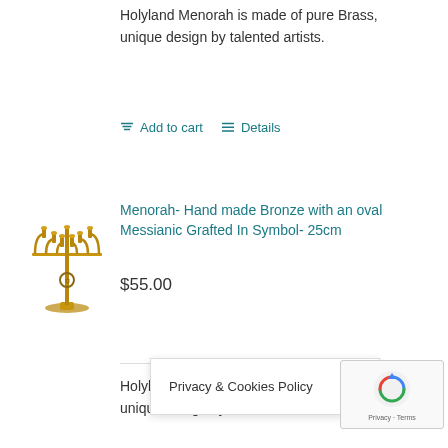Holyland Menorah is made of pure Brass, unique design by talented artists.
Add to cart   Details
[Figure (photo): A brass menorah with seven branches and a decorative base featuring a circular symbol]
Menorah- Hand made Bronze with an oval Messianic Grafted In Symbol- 25cm
$55.00
Holyland Menorah is made of pure Brass, unique design by talented artists.
Add to c...
Privacy & Cookies Policy